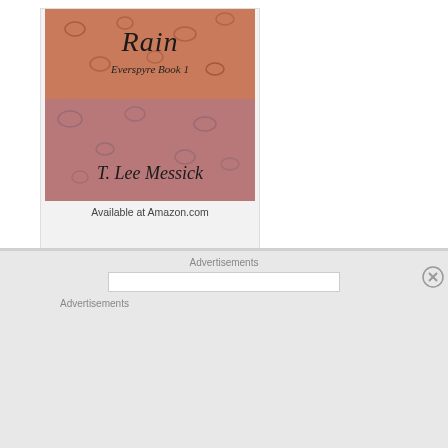[Figure (illustration): Book cover for 'Rain, Everspyre Book 1' by T. Lee Messick showing rain drops on a surface]
Available at Amazon.com
Advertisements
Advertisements
[Figure (screenshot): DuckDuckGo advertisement: Search, browse, and email with more privacy. All in One Free App. Shows DuckDuckGo app on a phone.]